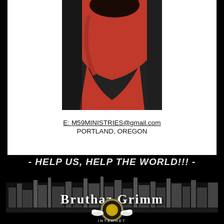[Figure (photo): Person wearing a red dress, photographed from the side against a dark background]
E: M59MINISTRIES@gmail.com
PORTLAND, OREGON
- HELP US, HELP THE WORLD!!! -
[Figure (logo): Bruthaz Grimm logo with cityscape silhouette background and white gothic text reading 'Bruthaz Grimm']
[Figure (logo): Bruthaz Grimm Internet circular logo with gold center, doves on sides, and 'INTERNET' text below]